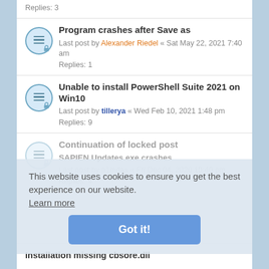Replies: 3
Program crashes after Save as
Last post by Alexander Riedel « Sat May 22, 2021 7:40 am
Replies: 1
Unable to install PowerShell Suite 2021 on Win10
Last post by tillerya « Wed Feb 10, 2021 1:48 pm
Replies: 9
Continuation of locked post
SAPIEN Updates.exe crashes
Last post by n1mdas « Fri Dec 04, 2020 10:40 pm
Replies: 4
This website uses cookies to ensure you get the best experience on our website.
Learn more
Got it!
Installation missing cbsore.dll